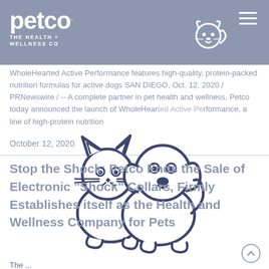[Figure (logo): Petco logo with 'THE HEALTH + WELLNESS CO' tagline on slate-blue header background]
WholeHearted Active Performance features high-quality, protein-packed nutrition formulas for active dogs SAN DIEGO, Oct. 12, 2020 / PRNewswire / -- A complete partner in pet health and wellness, Petco today announced the launch of WholeHearted Active Performance, a line of high-protein nutrition
October 12, 2020
[Figure (illustration): Line art illustration of a cat and dog sitting together, outlined in dark navy/indigo style, large watermark-style overlay on content area]
Stop the Shock: Petco Ends the Sale of Electronic "Shock" Collars, Firmly Establishes itself as the Health and Wellness Company for Pets
The ...